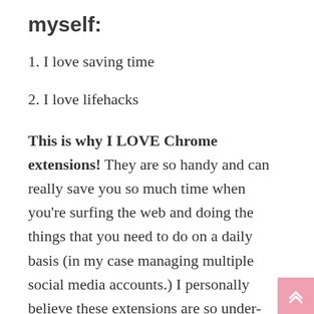myself:
1. I love saving time
2. I love lifehacks
This is why I LOVE Chrome extensions! They are so handy and can really save you so much time when you're surfing the web and doing the things that you need to do on a daily basis (in my case managing multiple social media accounts.) I personally believe these extensions are so under-rated! Everyone needs to know about these and how they can help them (especially when managing social media